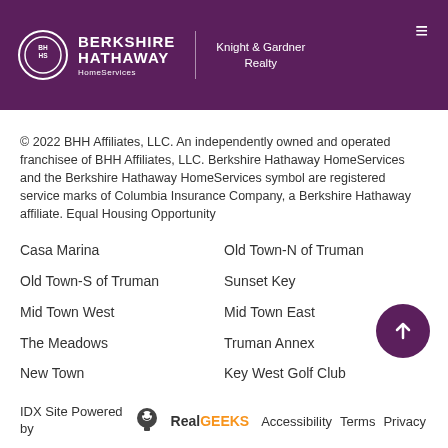[Figure (logo): Berkshire Hathaway HomeServices Knight & Gardner Realty logo in purple header with hamburger menu icon]
© 2022 BHH Affiliates, LLC. An independently owned and operated franchisee of BHH Affiliates, LLC. Berkshire Hathaway HomeServices and the Berkshire Hathaway HomeServices symbol are registered service marks of Columbia Insurance Company, a Berkshire Hathaway affiliate. Equal Housing Opportunity
Casa Marina
Old Town-N of Truman
Old Town-S of Truman
Sunset Key
Mid Town West
Mid Town East
The Meadows
Truman Annex
New Town
Key West Golf Club
IDX Site Powered by  RealGeeks  Accessibility  Terms  Privacy